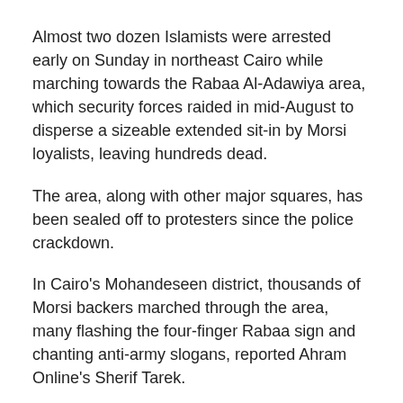Almost two dozen Islamists were arrested early on Sunday in northeast Cairo while marching towards the Rabaa Al-Adawiya area, which security forces raided in mid-August to disperse a sizeable extended sit-in by Morsi loyalists, leaving hundreds dead.
The area, along with other major squares, has been sealed off to protesters since the police crackdown.
In Cairo's Mohandeseen district, thousands of Morsi backers marched through the area, many flashing the four-finger Rabaa sign and chanting anti-army slogans, reported Ahram Online's Sherif Tarek.
Flexing its muscles, the National Alliance to Support Legitimacy urged followers to converge on Tahrir Square, the epicentre of the 2011 uprising and 2012 demonstrations against Morsi's rule.
However, its ability to muster large crowds has tailed off as security forces have mounted a crackdown on Islamists, arresting hundreds